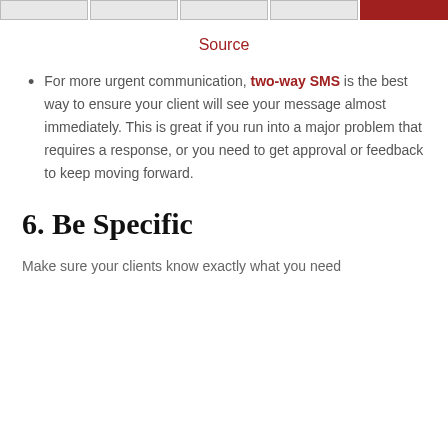Source
For more urgent communication, two-way SMS is the best way to ensure your client will see your message almost immediately. This is great if you run into a major problem that requires a response, or you need to get approval or feedback to keep moving forward.
6. Be Specific
Make sure your clients know exactly what you need